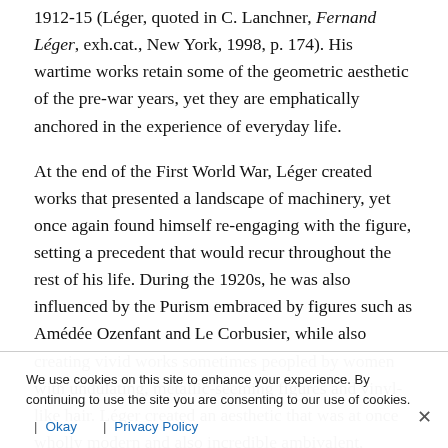1912-15 (Léger, quoted in C. Lanchner, Fernand Léger, exh.cat., New York, 1998, p. 174). His wartime works retain some of the geometric aesthetic of the pre-war years, yet they are emphatically anchored in the experience of everyday life.
At the end of the First World War, Léger created works that presented a landscape of machinery, yet once again found himself re-engaging with the figure, setting a precedent that would recur throughout the rest of his life. During the 1920s, he was also influenced by the Purism embraced by figures such as Amédée Ozenfant and Le Corbusier, while also creating vivid works sometimes peopled by women with undulating, metallic-seeming figures and vinyl-like hair. Léger created an aesthetic that was at once wholly modern and also incredible ambivalent, bringing together high and low culture — painting a mural for the United Nations in New York...
Léger had also turned to film during this period, creating in...
We use cookies on this site to enhance your experience. By continuing to use the site you are consenting to our use of cookies.